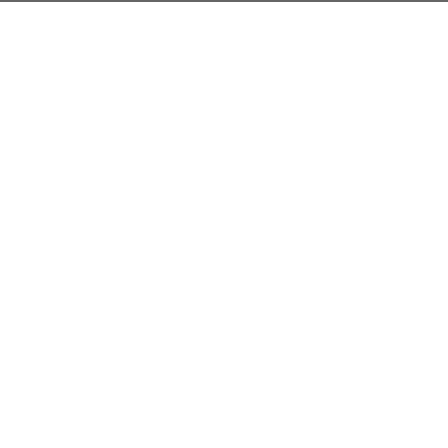| Num | Code/Description |
| --- | --- |
| 96 | AD10...
Hptm.
Haupt |
| 96 | AD10...
Brunn |
| 96 | AD10...
Meine |
| 96 | AD10...
Kurde |
| 96 | AD10...
Balsch |
| 96 | AD10...
Kirsch |
| 96 | AD10...
Nigde |
| 96 | AD10...
Aus K |
| 96 | AD10...
Aus S
Karah |
| 96 | AD10...
Nigde |
| 96 | AD10...
Oase |
| 96 | AD10...
Schub |
| 96 | AD10...
Kizik |
| 96 | AD10... |